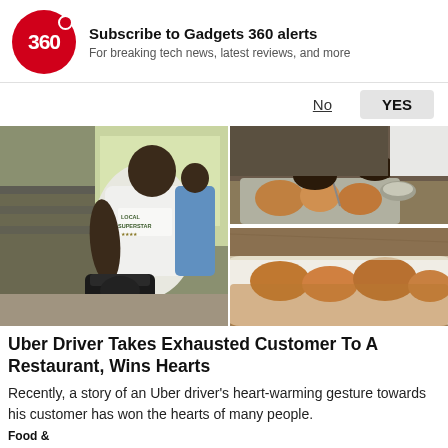Subscribe to Gadgets 360 alerts
For breaking tech news, latest reviews, and more
[Figure (photo): Two side-by-side photos: left photo shows a man in a white Local Superstar t-shirt from behind at a restaurant counter with a black bag; right photo shows two panels of a man eating food at a restaurant with a tray of dishes.]
Uber Driver Takes Exhausted Customer To A Restaurant, Wins Hearts
Recently, a story of an Uber driver's heart-warming gesture towards his customer has won the hearts of many people.
Food &